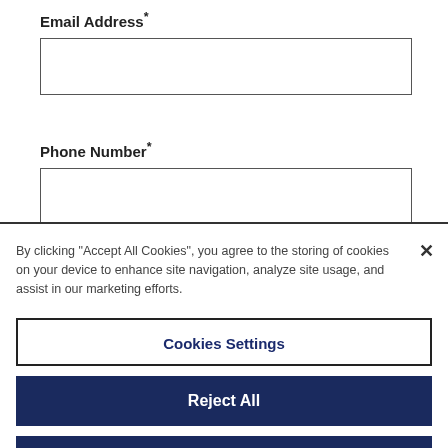Email Address*
Phone Number*
Company Name*
Job Title*
By clicking "Accept All Cookies", you agree to the storing of cookies on your device to enhance site navigation, analyze site usage, and assist in our marketing efforts.
Cookies Settings
Reject All
Accept All Cookies